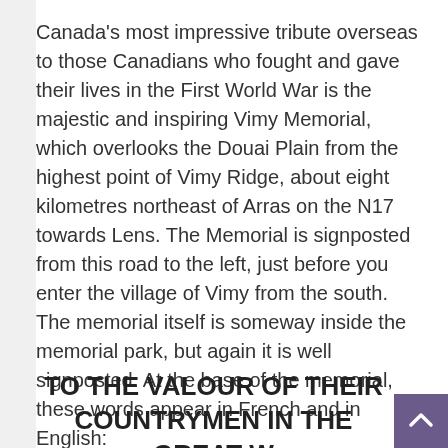Canada's most impressive tribute overseas to those Canadians who fought and gave their lives in the First World War is the majestic and inspiring Vimy Memorial, which overlooks the Douai Plain from the highest point of Vimy Ridge, about eight kilometres northeast of Arras on the N17 towards Lens. The Memorial is signposted from this road to the left, just before you enter the village of Vimy from the south. The memorial itself is someway inside the memorial park, but again it is well signposted. At the base of the memorial, these words appear in French and in English:
TO THE VALOUR OF THEIR COUNTRYMEN IN THE GREAT W...